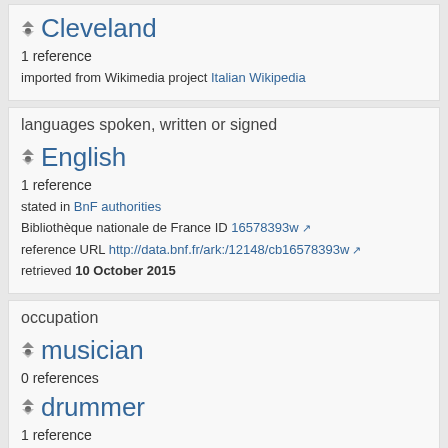Cleveland
1 reference
imported from Wikimedia project Italian Wikipedia
languages spoken, written or signed
English
1 reference
stated in BnF authorities
Bibliothèque nationale de France ID 16578393w
reference URL http://data.bnf.fr/ark:/12148/cb16578393w
retrieved 10 October 2015
occupation
musician
0 references
drummer
1 reference